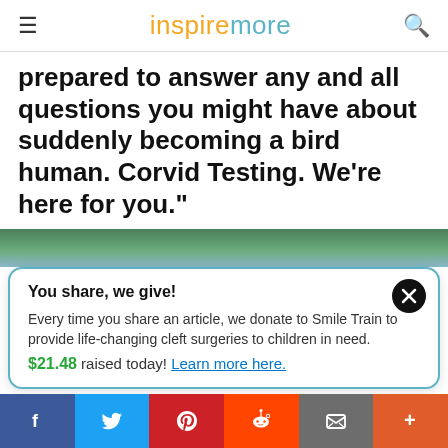inspiremore
prepared to answer any and all questions you might have about suddenly becoming a bird human. Corvid Testing. We're here for you."
[Figure (photo): Partial view of green trees against a blue sky, cropped to a horizontal strip.]
You share, we give!
Every time you share an article, we donate to Smile Train to provide life-changing cleft surgeries to children in need.
$21.48 raised today! Learn more here.
f  Twitter  Pinterest  Reddit  Email  +